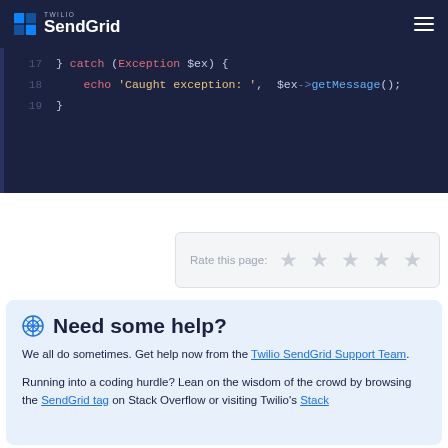Twilio SendGrid
[Figure (screenshot): PHP code block showing lines 17-19: catch(Exception $ex) { echo 'Caught exception: ', $ex->getMessage(); }]
Rate this page: ★ ★ ★ ★ ★
Need some help?
We all do sometimes. Get help now from the Twilio SendGrid Support Team.
Running into a coding hurdle? Lean on the wisdom of the crowd by browsing the SendGrid tag on Stack Overflow or visiting Twilio's Stack